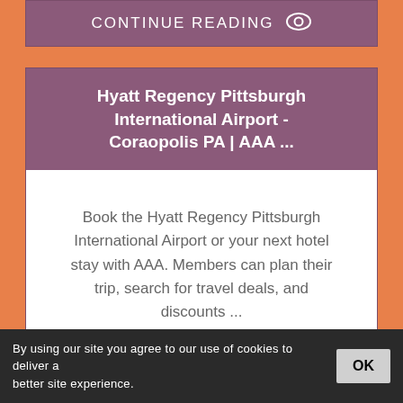CONTINUE READING
Hyatt Regency Pittsburgh International Airport - Coraopolis PA | AAA ...
Book the Hyatt Regency Pittsburgh International Airport or your next hotel stay with AAA. Members can plan their trip, search for travel deals, and discounts ...
CONTINUE READING
By using our site you agree to our use of cookies to deliver a better site experience.